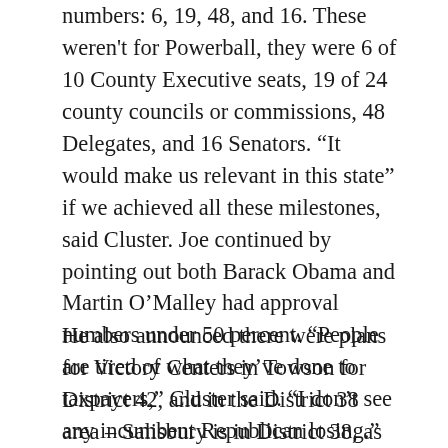numbers: 6, 19, 48, and 16. These weren't for Powerball, they were 6 of 10 County Executive seats, 19 of 24 county councils or commissions, 48 Delegates, and 16 Senators. “It would make us relevant in this state” if we achieved all these milestones, said Cluster. Joe continued by pointing out both Barack Obama and Martin O’Malley had approval numbers under 50 percent. “People are tired of what they’ve done to taxpayers,” Cluster said. “I don’t see any incumbent Republican losing.”
He also announced there were plans for Victory Centers in Towson for District 42, and in the District 38 area – Salisbury is in District 38, as is Ocean City. We then got to new business.